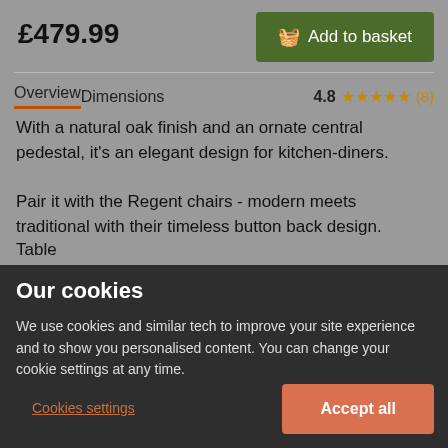£479.99
Add to basket
Overview
Dimensions
4.8 ★★★★★ (8)
With a natural oak finish and an ornate central pedestal, it's an elegant design for kitchen-diners.
Pair it with the Regent chairs - modern meets traditional with their timeless button back design.
Table
Our cookies
We use cookies and similar tech to improve your site experience and to show you personalised content. You can change your cookie settings at any time.
Cookies settings
Accept all